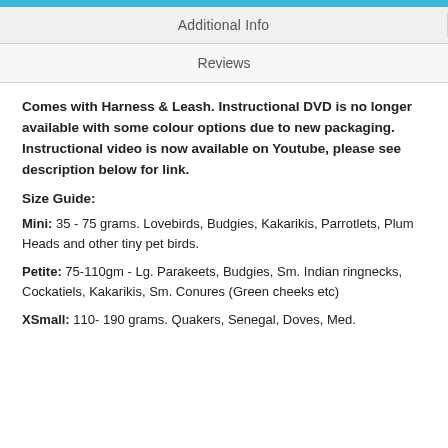Additional Info
Reviews
Comes with Harness & Leash. Instructional DVD is no longer available with some colour options due to new packaging. Instructional video is now available on Youtube, please see description below for link.
Size Guide:
Mini: 35 - 75 grams. Lovebirds, Budgies, Kakarikis, Parrotlets, Plum Heads and other tiny pet birds.
Petite: 75-110gm - Lg. Parakeets, Budgies, Sm. Indian ringnecks, Cockatiels, Kakarikis, Sm. Conures (Green cheeks etc)
XSmall: 110- 190 grams. Quakers, Senegal, Doves, Med.